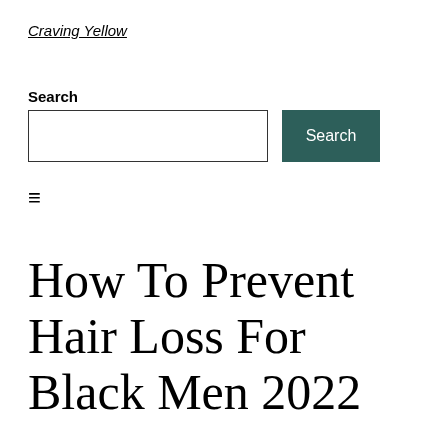Craving Yellow
Search
Search input box and Search button
≡
How To Prevent Hair Loss For Black Men 2022